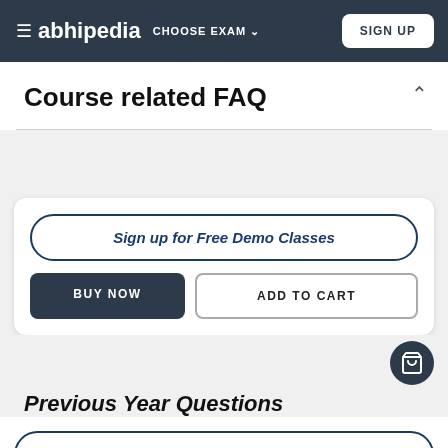≡ abhipedia CHOOSE EXAM ∨  SIGN UP
Course related FAQ
Sign up for Free Demo Classes
BUY NOW
ADD TO CART
Previous Year Questions
Sign up for Free Demo Classes
BUY NOW
ADD TO CART